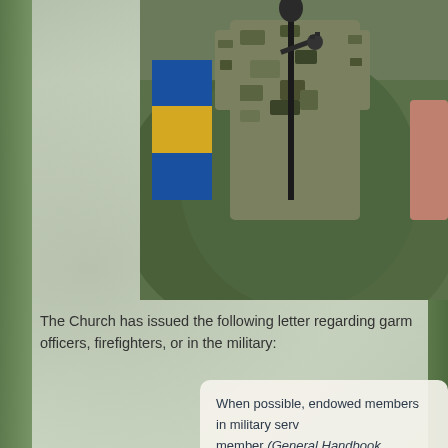[Figure (photo): Photo of a person in military camouflage uniform standing at a microphone stand, with a flag (blue and yellow/gold colors) visible on the left side. Outdoor setting with green foliage in background.]
The Church has issued the following letter regarding garments for officers, firefighters, or in the military:
When possible, endowed members in military service should wear the garment as required of every endowed member (General Handbook, 38.9.8). Those serving in the military often have specific uniform requirements or undergarments. To better meet the needs of uniform undergarment marking services free of charge through military garments will no longer be available through